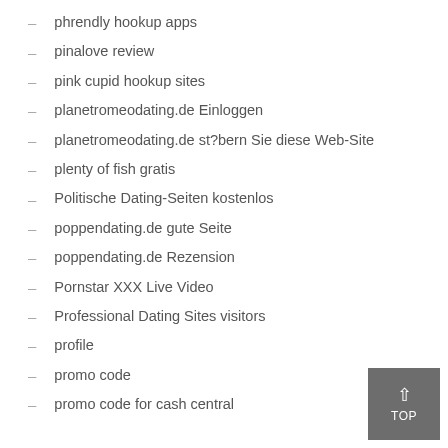phrendly hookup apps
pinalove review
pink cupid hookup sites
planetromeodating.de Einloggen
planetromeodating.de st?bern Sie diese Web-Site
plenty of fish gratis
Politische Dating-Seiten kostenlos
poppendating.de gute Seite
poppendating.de Rezension
Pornstar XXX Live Video
Professional Dating Sites visitors
profile
promo code
promo code for cash central